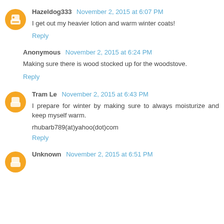Hazeldog333 November 2, 2015 at 6:07 PM
I get out my heavier lotion and warm winter coats!
Reply
Anonymous November 2, 2015 at 6:24 PM
Making sure there is wood stocked up for the woodstove.
Reply
Tram Le November 2, 2015 at 6:43 PM
I prepare for winter by making sure to always moisturize and keep myself warm.
rhubarb789(at)yahoo(dot)com
Reply
Unknown November 2, 2015 at 6:51 PM